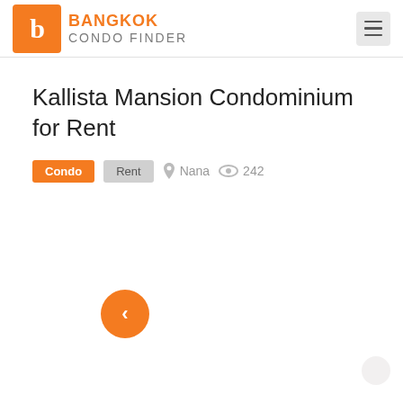[Figure (logo): Bangkok Condo Finder logo with orange square containing white 'b' letter and text 'BANGKOK CONDO FINDER']
Kallista Mansion Condominium for Rent
Condo  Rent  Nana  242